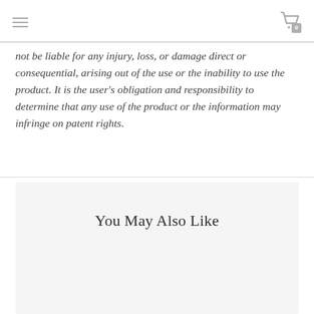not be liable for any injury, loss, or damage direct or consequential, arising out of the use or the inability to use the product. It is the user's obligation and responsibility to determine that any use of the product or the information may infringe on patent rights.
You May Also Like